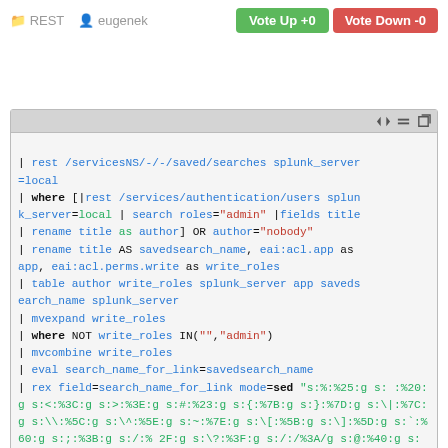REST  eugenek  Vote Up +0  Vote Down -0
[Figure (screenshot): Code block showing a Splunk SPL query using REST, where, rename, table, mvexpand, mvcombine, eval, and rex commands with field=search_name_for_link mode=sed and a sed substitution string for URL encoding special characters.]